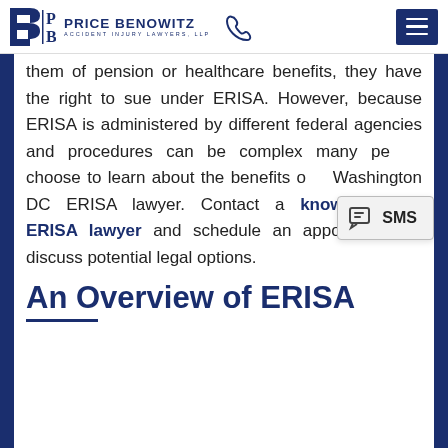Price Benowitz Accident Injury Lawyers, LLP
them of pension or healthcare benefits, they have the right to sue under ERISA. However, because ERISA is administered by different federal agencies and procedures can be complex many people choose to learn about the benefits of a Washington DC ERISA lawyer. Contact a knowledgeable ERISA lawyer and schedule an appointment to discuss potential legal options.
An Overview of ERISA